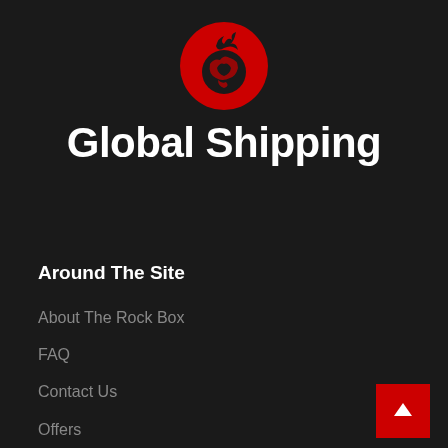[Figure (logo): Red circular logo with a globe/world icon in dark silhouette, fire or wing element at top]
Global Shipping
Around The Site
About The Rock Box
FAQ
Contact Us
Offers
Selling Your Vinyl